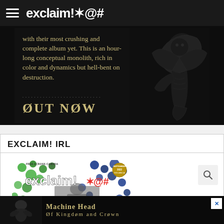exclaim!*@#
[Figure (photo): Dark album advertisement with gothic text reading 'with their most crushing and complete album yet. This is an hour-long conceptual monolith, rich in color and dynamics but hell-bent on destruction.' followed by 'ØUT NØW' and a dark winged creature illustration]
EXCLAIM! IRL
[Figure (photo): Exclaim! magazine cover showing colorful polka dot pattern background with Exclaim! logo, 'FREE ACROSS CANADA', 'SEPTEMBER' badge, 'PUSHA T IF YOU KNOW, YOU KNOW' text]
[Figure (photo): Machine Head band advertisement banner showing 'MACHINE HEAD ØF KINGDØM AND CRØWN' with dark background and band member imagery]